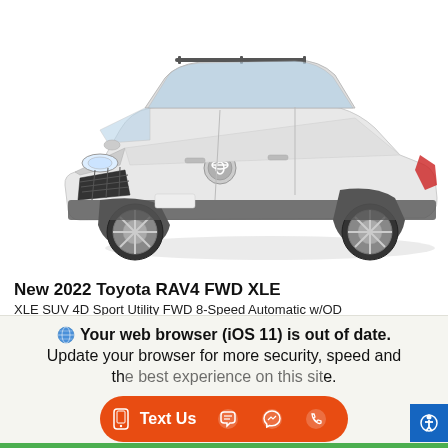[Figure (photo): White 2022 Toyota RAV4 FWD XLE SUV shown from a front three-quarter angle on a white background]
New 2022 Toyota RAV4 FWD XLE
XLE SUV 4D Sport Utility FWD 8-Speed Automatic w/OD
See below for additional fees, costs, and products*
Your web browser (iOS 11) is out of date.
Update your browser for more security, speed and the best experience on this site.